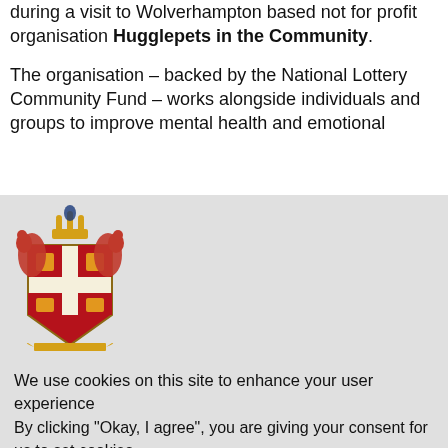during a visit to Wolverhampton based not for profit organisation Hugglepets in the Community.
The organisation – backed by the National Lottery Community Fund – works alongside individuals and groups to improve mental health and emotional
[Figure (illustration): Wolverhampton City Council coat of arms logo — a heraldic shield with red and gold colours, flanked by two red griffins/lions, with a crown on top and a banner below.]
We use cookies on this site to enhance your user experience
By clicking "Okay, I agree", you are giving your consent for us to set cookies.
No, thanks
Okay, I agree